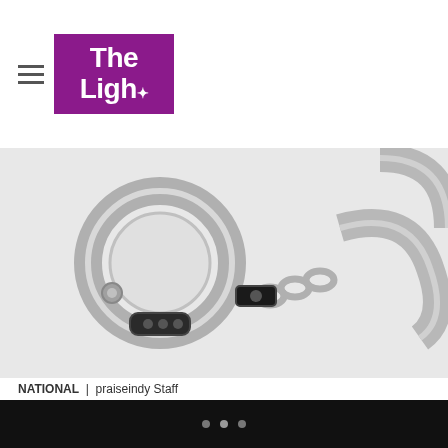The Light (logo)
[Figure (photo): Close-up photograph of silver metal handcuffs on a white background]
NATIONAL | praiseindy Staff
Missouri School District Sued After Cop Handcuffed 7-Year-Old Hearing Impaired Black Child
A federal lawsuit accuses an officer and the Kansas City School district of unconstitutionally handcuffing a second-grader. The child was upset after being bullied by a classmate.
[Figure (photo): Partial view of a classroom scene with a student and educational materials on the wall]